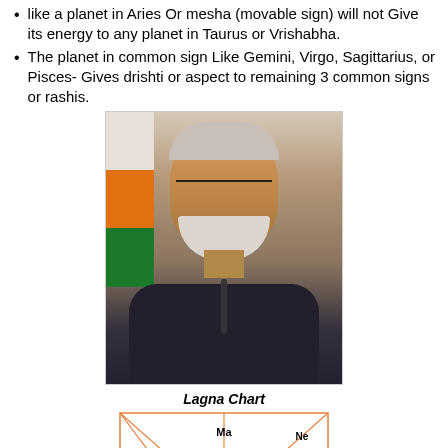like a planet in Aries Or mesha (movable sign) will not Give its energy to any planet in Taurus or Vrishabha.
The planet in common sign Like Gemini, Virgo, Sagittarius, or Pisces- Gives drishti or aspect to remaining 3 common signs or rashis.
[Figure (photo): Portrait photograph of a man in dark Indian formal attire (bandhgala/Nehru jacket) with white beard and glasses, with an Indian flag in the background]
Lagna Chart
[Figure (schematic): South Indian astrological birth chart (Lagna Chart) showing house numbers and planetary positions: Ma, Mo in house 11/top-center; Ne, Ke, Su, Me in top-right; 9/10 in left; 7/6 in right; Sa in right-center; Ju in bottom-left; 8/11/5/2 in bottom-center; Ve in bottom-right area]